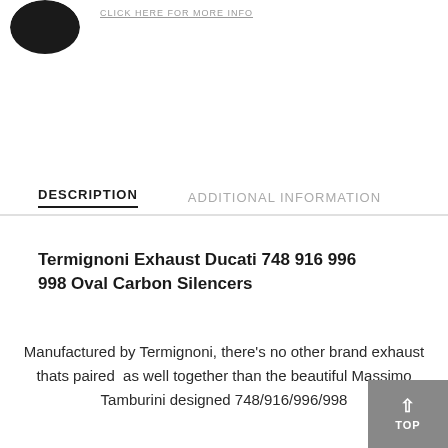[Figure (logo): Black circular logo in top-left corner, partially cropped]
CLICK HERE FOR MORE INFO
DESCRIPTION    ADDITIONAL INFORMATION
Termignoni Exhaust Ducati 748 916 996 998 Oval Carbon Silencers
Manufactured by Termignoni, there's no other brand exhaust thats paired  as well together than the beautiful Massimo Tamburini designed 748/916/996/998